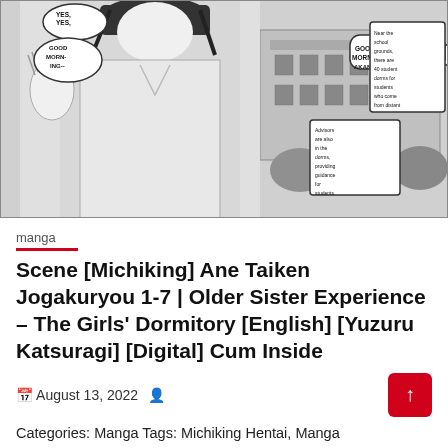[Figure (illustration): Black and white manga page showing a female character in a school setting with speech bubbles. Speech bubbles read: 'YES, YES,', 'GOOD MORN-ING--', 'GOOD MORNING, AKANE-SAN!', 'Advisors are also in the dorms, providing guidance for students while living together.', 'Near the school grounds, there are 40 student dorms for students who come from distant lands.']
manga
Scene [Michiking] Ane Taiken Jogakuryou 1-7 | Older Sister Experience – The Girls' Dormitory [English] [Yuzuru Katsuragi] [Digital] Cum Inside
August 13, 2022
Categories: Manga Tags: Michiking Hentai, Manga